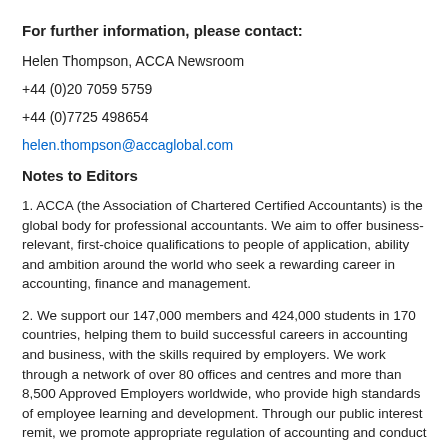For further information, please contact:
Helen Thompson, ACCA Newsroom
+44 (0)20 7059 5759
+44 (0)7725 498654
helen.thompson@accaglobal.com
Notes to Editors
1. ACCA (the Association of Chartered Certified Accountants) is the global body for professional accountants. We aim to offer business-relevant, first-choice qualifications to people of application, ability and ambition around the world who seek a rewarding career in accounting, finance and management.
2. We support our 147,000 members and 424,000 students in 170 countries, helping them to build successful careers in accounting and business, with the skills required by employers. We work through a network of over 80 offices and centres and more than 8,500 Approved Employers worldwide, who provide high standards of employee learning and development. Through our public interest remit, we promote appropriate regulation of accounting and conduct relevant research to ensure accountancy continues to grow in reputation and influence.